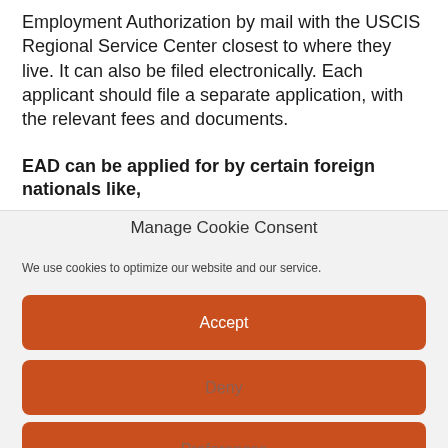Employment Authorization by mail with the USCIS Regional Service Center closest to where they live. It can also be filed electronically. Each applicant should file a separate application, with the relevant fees and documents.
EAD can be applied for by certain foreign nationals like,
Manage Cookie Consent
We use cookies to optimize our website and our service.
Accept
Deny
Preferences